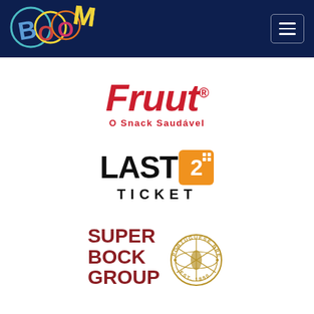[Figure (logo): Boom Festival logo in header — colorful circular and geometric shapes forming BOOM letters on dark navy background]
[Figure (logo): Hamburger menu button in top-right corner on dark navy background]
[Figure (logo): Fruut logo — bold red italic text 'Fruut' with registered trademark, subtitle 'O Snack Saudável' in red]
[Figure (logo): Last2Ticket logo — bold black 'LAST' with orange square containing white '2' and dots, and 'TICKET' below in spaced letters]
[Figure (logo): Super Bock Group logo — bold dark red stacked text 'SUPER BOCK GROUP' with Portuguese Brewery globe emblem, EST. 1890]